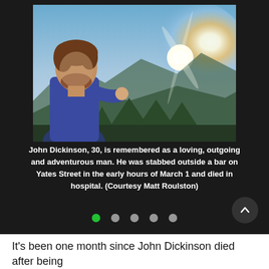[Figure (photo): A young man with brown beard and blue t-shirt standing outdoors with mountains and bright sunlight in the background. He appears to be looking downward with a relaxed pose.]
John Dickinson, 30, is remembered as a loving, outgoing and adventurous man. He was stabbed outside a bar on Yates Street in the early hours of March 1 and died in hospital. (Courtesy Matt Roulston)
It's been one month since John Dickinson died after being